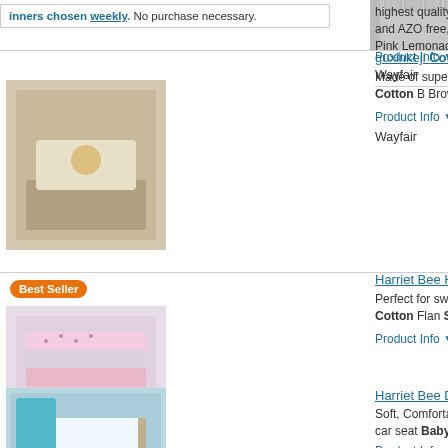winners chosen weekly. No purchase necessary.
[Figure (photo): Gray waffle knit baby blanket product photo]
highest quality combed cotton which OEKO-TEX certified and AZO free, the blanket features both fun and classic | Pink Lemonade Circles 100% Cotton
Product Info ▼
Wayfair
guxinkeji Cotton Blend Baby
[Figure (photo): Beige cotton blend baby blanket draped over crib]
Made of super soft plush fabrics | guxi Cotton Blend Baby Blanket Cotton B Brown, Size 40.0 H x 30.0 W in | Way more
Product Info ▼
Wayfair
Harriet Bee Halvorsen 6 Piece
[Figure (photo): Best Seller — Harriet Bee pink flannel baby blankets stack]
Perfect for swaddling, burping or cudd Halvorsen 6 Piece Baby Cotton Flan Size 38.0 H x 30.0 W in | Wayfair ... m
Product Info ▼
Harriet Bee Deannea 100% Co
[Figure (photo): Turquoise baby blanket in blue crib product photo]
Soft, Comfortable and Breathable keep stroller, cot, basinet, crib, and car seat Baby Blanket in Blue, Size 47.0 H x 4
Product Info ▼